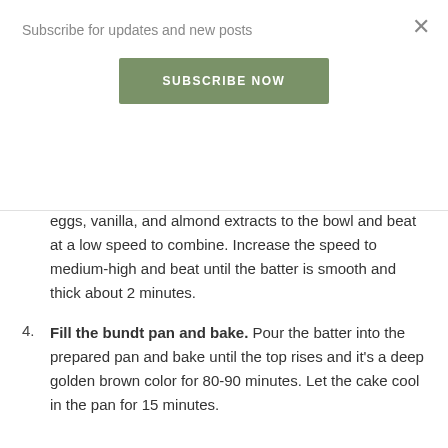Subscribe for updates and new posts
SUBSCRIBE NOW
together granulated sugar, poppy seeds, baking powder, salt, and flour.
3. Add the wet ingredients and beat. Add the milk, oil, eggs, vanilla, and almond extracts to the bowl and beat at a low speed to combine. Increase the speed to medium-high and beat until the batter is smooth and thick about 2 minutes.
4. Fill the bundt pan and bake. Pour the batter into the prepared pan and bake until the top rises and it's a deep golden brown color for 80-90 minutes. Let the cake cool in the pan for 15 minutes.